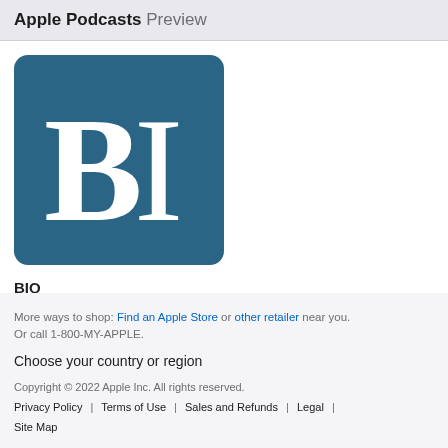Apple Podcasts Preview
[Figure (logo): Business Insider podcast logo — teal/dark blue square with white serif letters 'BI' large in center]
BIQ
Business Insider
More ways to shop: Find an Apple Store or other retailer near you. Or call 1-800-MY-APPLE. Choose your country or region Copyright © 2022 Apple Inc. All rights reserved. Privacy Policy | Terms of Use | Sales and Refunds | Legal | Site Map